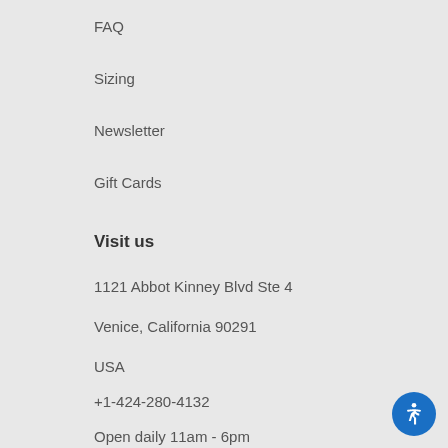FAQ
Sizing
Newsletter
Gift Cards
Visit us
1121 Abbot Kinney Blvd Ste 4
Venice, California 90291
USA
+1-424-280-4132
Open daily 11am - 6pm